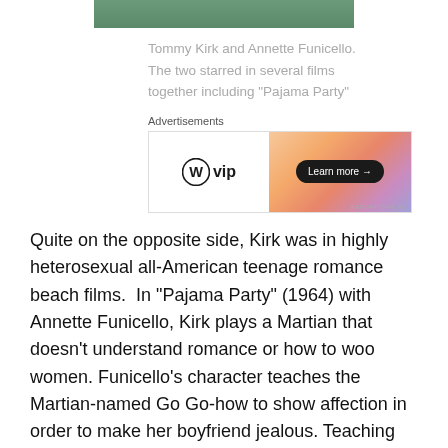[Figure (photo): Top portion of a photo showing Tommy Kirk and Annette Funicello, cropped at top of page]
Tommy Kirk and Annette Funicello. The two starred in several films together including “Pajama Party”
[Figure (other): WordPress VIP advertisement banner with gradient background and Learn more button]
Quite on the opposite side, Kirk was in highly heterosexual all-American teenage romance beach films.  In “Pajama Party” (1964) with Annette Funicello, Kirk plays a Martian that doesn’t understand romance or how to woo women. Funicello’s character teaches the Martian-named Go Go-how to show affection in order to make her boyfriend jealous. Teaching Kirk how to romance a woman in a film almost makes me wonder if it was a jab at him.